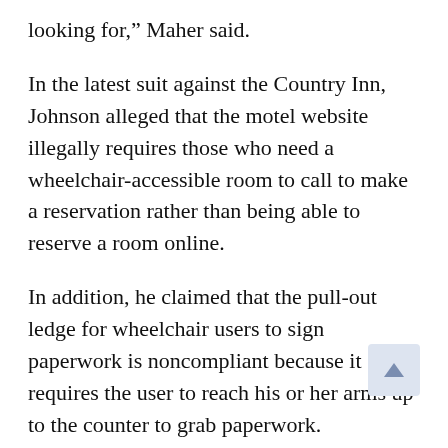looking for," Maher said.
In the latest suit against the Country Inn, Johnson alleged that the motel website illegally requires those who need a wheelchair-accessible room to call to make a reservation rather than being able to reserve a room online.
In addition, he claimed that the pull-out ledge for wheelchair users to sign paperwork is noncompliant because it requires the user to reach his or her arms up to the counter to grab paperwork.
To remedy that would require a total remodel of the motel’s office because the Cesanos can’t cut into the granite counter, Maher said.
Attempts to reach Johnson for comment were unsuccessful.